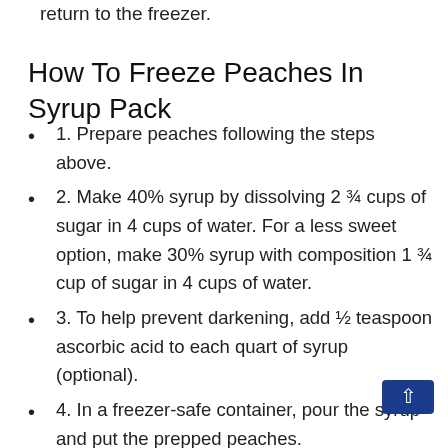return to the freezer.
How To Freeze Peaches In Syrup Pack
1. Prepare peaches following the steps above.
2. Make 40% syrup by dissolving 2 ¾ cups of sugar in 4 cups of water. For a less sweet option, make 30% syrup with composition 1 ¾ cup of sugar in 4 cups of water.
3. To help prevent darkening, add ½ teaspoon ascorbic acid to each quart of syrup (optional).
4. In a freezer-safe container, pour the syrup and put the prepped peaches.
5. Make sure all fruits are covered in syrup.
6. Leave a headspace.
7. Seal the container, label with freezing date